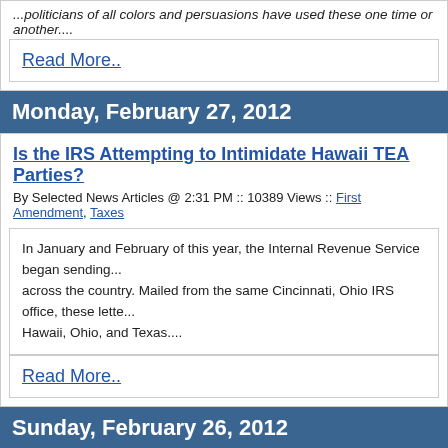...politicians of all colors and persuasions have used these one time or another....
Read More..
Monday, February 27, 2012
Is the IRS Attempting to Intimidate Hawaii TEA Parties?
By Selected News Articles @ 2:31 PM :: 10389 Views :: First Amendment, Taxes
In January and February of this year, the Internal Revenue Service began sending... across the country. Mailed from the same Cincinnati, Ohio IRS office, these lette... Hawaii, Ohio, and Texas....
Read More..
Sunday, February 26, 2012
10-cents-per-bag Tax: Greens, Big Business, Big Government te...
By Andrew Walden @ 9:35 PM :: 6933 Views :: Environment, Taxes
The 2011 version of the 10-cent bag tax failed at the end of the legislative sessio... back by amending the bill to eliminate retailers' portion of the fee-split....
Read More..